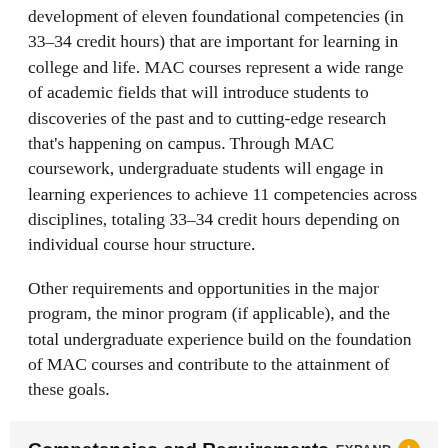development of eleven foundational competencies (in 33–34 credit hours) that are important for learning in college and life. MAC courses represent a wide range of academic fields that will introduce students to discoveries of the past and to cutting-edge research that's happening on campus. Through MAC coursework, undergraduate students will engage in learning experiences to achieve 11 competencies across disciplines, totaling 33–34 credit hours depending on individual course hour structure.
Other requirements and opportunities in the major program, the minor program (if applicable), and the total undergraduate experience build on the foundation of MAC courses and contribute to the attainment of these goals.
Competencies and Requirements
Students Transferring to UNC Greensboro